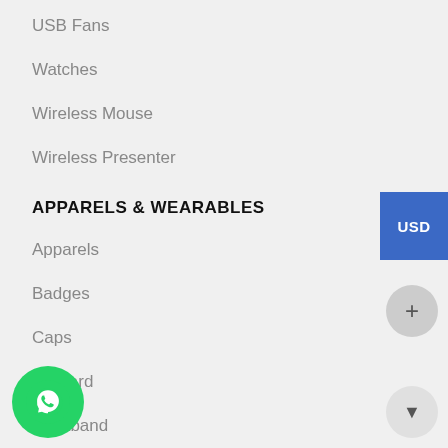USB Fans
Watches
Wireless Mouse
Wireless Presenter
APPARELS & WEARABLES
Apparels
Badges
Caps
Lanyard
Wristband
OFFICE & STATIONERY
Executive Pens